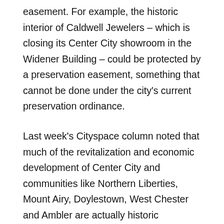easement. For example, the historic interior of Caldwell Jewelers – which is closing its Center City showroom in the Widener Building – could be protected by a preservation easement, something that cannot be done under the city's current preservation ordinance.
Last week's Cityspace column noted that much of the revitalization and economic development of Center City and communities like Northern Liberties, Mount Airy, Doylestown, West Chester and Ambler are actually historic preservation activities fueled by private interests combined with public-sector incentives. Easements are another example of a successful private sector preservation tool: a voluntary, two-party agreement in which the owner of a historic property agrees to never demolish and to maintain the historic character of the